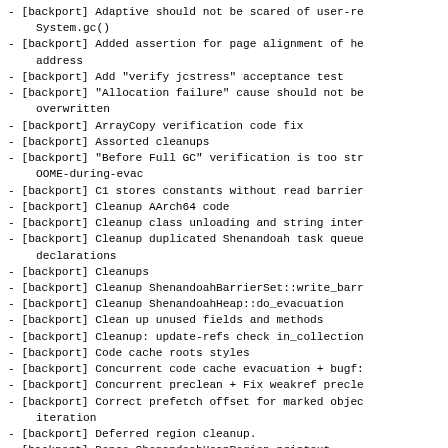[backport] Adaptive should not be scared of user-re System.gc()
[backport] Added assertion for page alignment of he address
[backport] Add "verify jcstress" acceptance test
[backport] "Allocation failure" cause should not be overwritten
[backport] ArrayCopy verification code fix
[backport] Assorted cleanups
[backport] "Before Full GC" verification is too str OOME-during-evac
[backport] C1 stores constants without read barrier
[backport] Cleanup AArch64 code
[backport] Cleanup class unloading and string inter
[backport] Cleanup duplicated Shenandoah task queue declarations
[backport] Cleanups
[backport] Cleanup ShenandoahBarrierSet::write_barr
[backport] Cleanup ShenandoahHeap::do_evacuation
[backport] Clean up unused fields and methods
[backport] Cleanup: update-refs check in_collection
[backport] Code cache roots styles
[backport] Concurrent code cache evacuation + bugf:
[backport] Concurrent preclean + Fix weakref precle
[backport] Correct prefetch offset for marked objec iteration
[backport] Deferred region cleanup.
[backport] Dense ShenandoahHeapRegion printout
[backport] Detailed ParallelCleanupTask statistics out Full GC stats for parallel cleaning